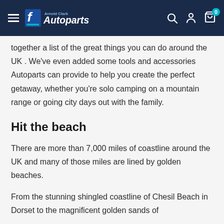Arnold Clark Autoparts
together a list of the great things you can do around the UK . We've even added some tools and accessories Autoparts can provide to help you create the perfect getaway, whether you're solo camping on a mountain range or going city days out with the family.
Hit the beach
There are more than 7,000 miles of coastline around the UK and many of those miles are lined by golden beaches.
From the stunning shingled coastline of Chesil Beach in Dorset to the magnificent golden sands of